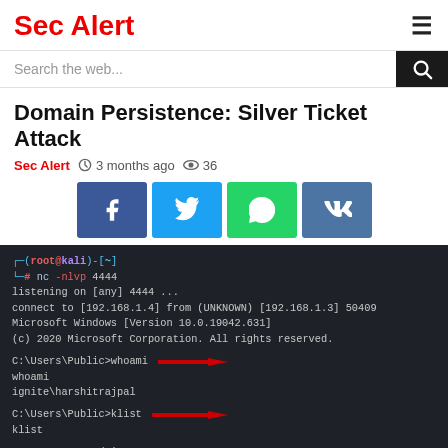Sec Alert
Domain Persistence: Silver Ticket Attack
Sec Alert  3 months ago  36
[Figure (screenshot): Terminal screenshot showing netcat listener, whoami output (ignite\harshitrajpal), klist showing no cached tickets, and dir \\dc1.ignite.local\c$ failing with incorrect username/password error.]